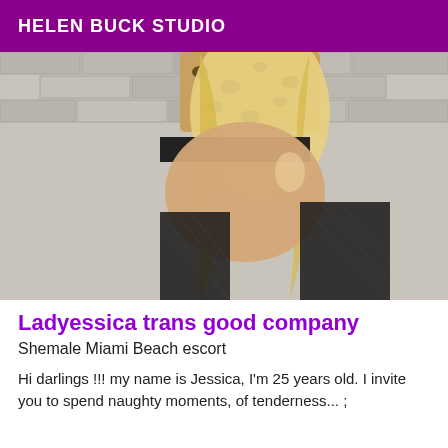HELEN BUCK STUDIO
[Figure (photo): A person with long blonde hair wearing a leopard print top and black fishnet stockings, posed facing away from camera in front of a stone brick wall background.]
Ladyessica trans good company
Shemale Miami Beach escort
Hi darlings !!! my name is Jessica, I'm 25 years old. I invite you to spend naughty moments, of tenderness... ;